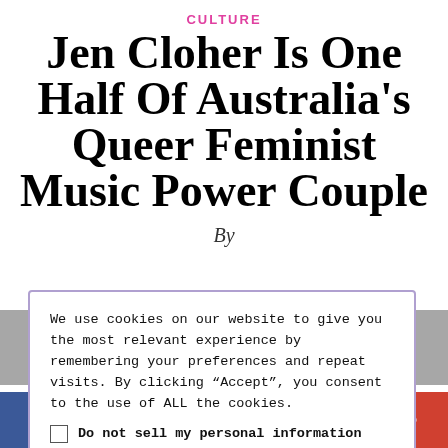CULTURE
Jen Cloher Is One Half Of Australia's Queer Feminist Music Power Couple
By
We use cookies on our website to give you the most relevant experience by remembering your preferences and repeat visits. By clicking “Accept”, you consent to the use of ALL the cookies.
Do not sell my personal information
Cookie settings   Accept